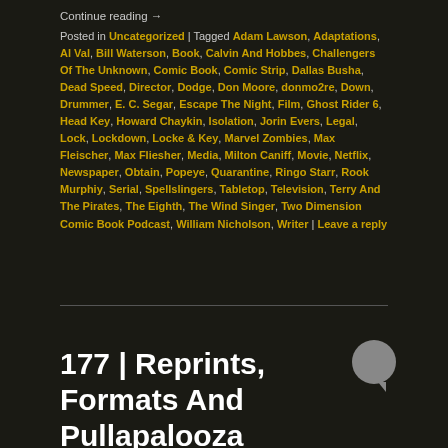Continue reading →
Posted in Uncategorized | Tagged Adam Lawson, Adaptations, Al Val, Bill Waterson, Book, Calvin And Hobbes, Challengers Of The Unknown, Comic Book, Comic Strip, Dallas Busha, Dead Speed, Director, Dodge, Don Moore, donmo2re, Down, Drummer, E. C. Segar, Escape The Night, Film, Ghost Rider 6, Head Key, Howard Chaykin, Isolation, Jorin Evers, Legal, Lock, Lockdown, Locke & Key, Marvel Zombies, Max Fleischer, Max Fliesher, Media, Milton Caniff, Movie, Netflix, Newspaper, Obtain, Popeye, Quarantine, Ringo Starr, Rook Murphiy, Serial, Spellslingers, Tabletop, Television, Terry And The Pirates, The Eighth, The Wind Singer, Two Dimension Comic Book Podcast, William Nicholson, Writer | Leave a reply
177 | Reprints, Formats And Pullapalooza
Posted on November 15, 2016